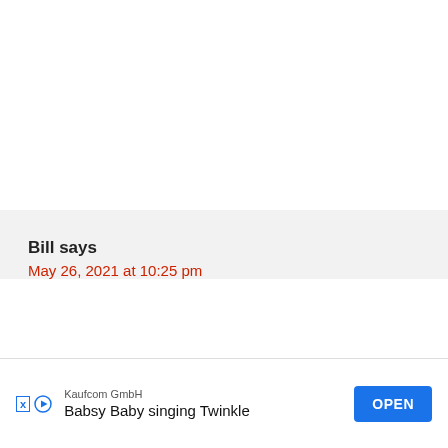Bill says
May 26, 2021 at 10:25 pm
This is something I'm currently struggling with. So far my daughter has done just
[Figure (screenshot): Mobile app advertisement banner: Kaufcom GmbH - Babsy Baby singing Twinkle, with OPEN button and X/play controls]